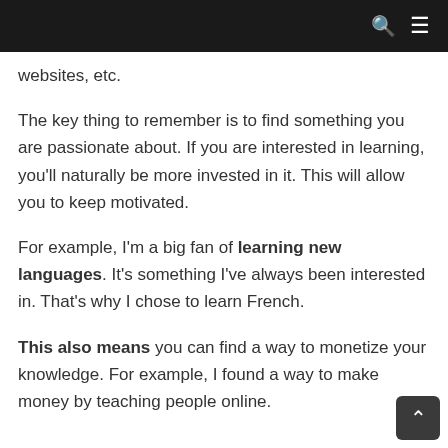websites, etc.
The key thing to remember is to find something you are passionate about. If you are interested in learning, you'll naturally be more invested in it. This will allow you to keep motivated.
For example, I'm a big fan of learning new languages. It's something I've always been interested in. That's why I chose to learn French.
This also means you can find a way to monetize your knowledge. For example, I found a way to make money by teaching people online.